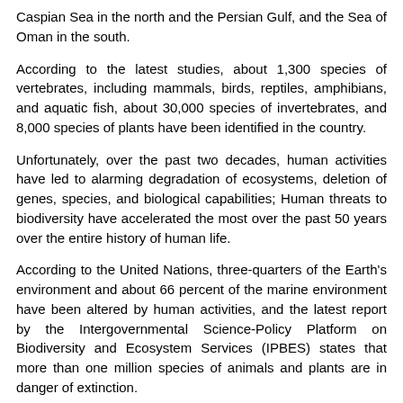Caspian Sea in the north and the Persian Gulf, and the Sea of Oman in the south.
According to the latest studies, about 1,300 species of vertebrates, including mammals, birds, reptiles, amphibians, and aquatic fish, about 30,000 species of invertebrates, and 8,000 species of plants have been identified in the country.
Unfortunately, over the past two decades, human activities have led to alarming degradation of ecosystems, deletion of genes, species, and biological capabilities; Human threats to biodiversity have accelerated the most over the past 50 years over the entire history of human life.
According to the United Nations, three-quarters of the Earth's environment and about 66 percent of the marine environment have been altered by human activities, and the latest report by the Intergovernmental Science-Policy Platform on Biodiversity and Ecosystem Services (IPBES) states that more than one million species of animals and plants are in danger of extinction.
Therefore, any planning and action in the direction of animal